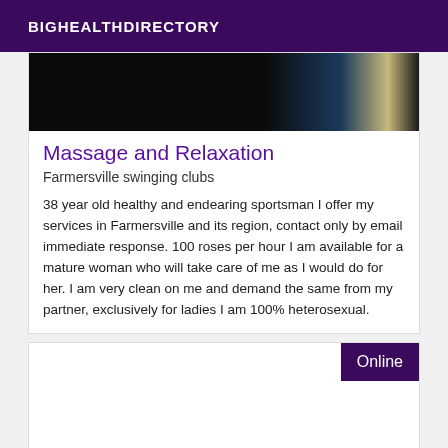BIGHEALTHDIRECTORY
[Figure (photo): Dark background image with a pale beam of light in the center, dark on left and right edges]
Massage and Relaxation
Farmersville swinging clubs
38 year old healthy and endearing sportsman I offer my services in Farmersville and its region, contact only by email immediate response. 100 roses per hour I am available for a mature woman who will take care of me as I would do for her. I am very clean on me and demand the same from my partner, exclusively for ladies I am 100% heterosexual.
Online